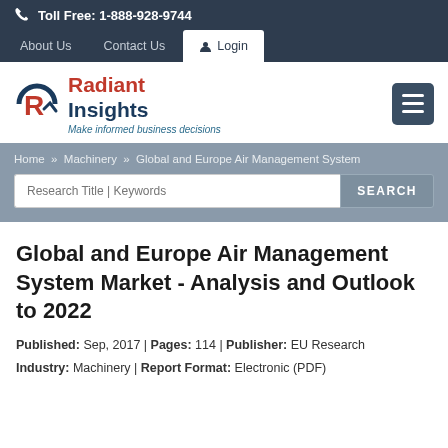Toll Free: 1-888-928-9744
About Us   Contact Us   Login
[Figure (logo): Radiant Insights logo with red R icon and navy text. Tagline: Make informed business decisions]
Home » Machinery » Global and Europe Air Management System
Global and Europe Air Management System Market - Analysis and Outlook to 2022
Published: Sep, 2017 | Pages: 114 | Publisher: EU Research
Industry: Machinery | Report Format: Electronic (PDF)